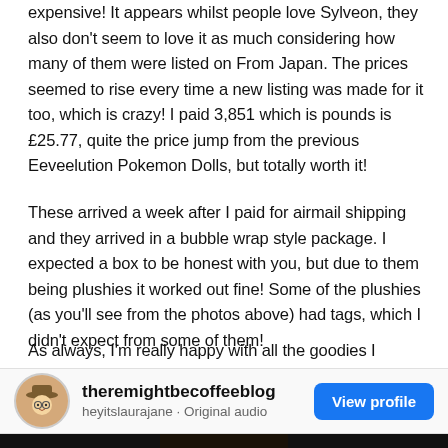expensive! It appears whilst people love Sylveon, they also don't seem to love it as much considering how many of them were listed on From Japan. The prices seemed to rise every time a new listing was made for it too, which is crazy! I paid 3,851 which is pounds is £25.77, quite the price jump from the previous Eeveelution Pokemon Dolls, but totally worth it!
These arrived a week after I paid for airmail shipping and they arrived in a bubble wrap style package. I expected a box to be honest with you, but due to them being plushies it worked out fine! Some of the plushies (as you'll see from the photos above) had tags, which I didn't expect from some of them!
As always, I'm really happy with all the goodies I bought from From Japan and they've all arrived in perfect condition.
[Figure (infographic): Profile card for 'theremightbecoffeeblog' with avatar, username 'heyitslaurajane · Original audio', and a blue 'View profile' button]
[Figure (photo): Bottom strip showing a partial photo, mostly black with a glimpse of plushies at the bottom of the page]